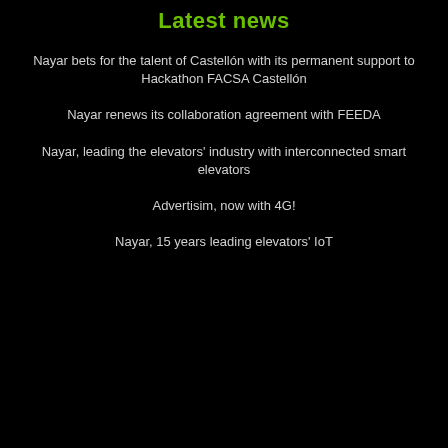Latest news
Nayar bets for the talent of Castellón with its permanent support to Hackathon FACSA Castellón
Nayar renews its collaboration agreement with FEEDA
Nayar, leading the elevators' industry with interconnected smart elevators
Advertisim, now with 4G!
Nayar, 15 years leading elevators' IoT